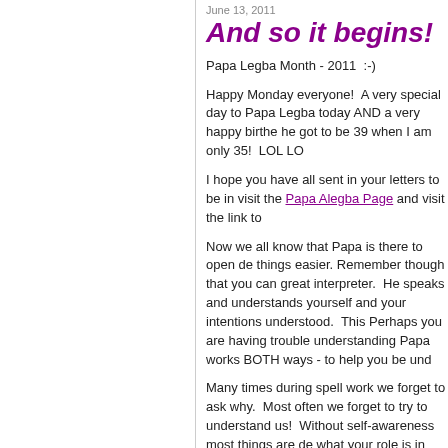June 13, 2011
And so it begins!
Papa Legba Month - 2011  :-)
Happy Monday everyone!  A very special day to Papa Legba today AND a very happy birthday he got to be 39 when I am only 35!  LOL LO
I hope you have all sent in your letters to be in visit the Papa Alegba Page and visit the link to
Now we all know that Papa is there to open de things easier. Remember though that you can great interpreter.  He speaks and understands yourself and your intentions understood.  This Perhaps you are having trouble understanding Papa works BOTH ways - to help you be und
Many times during spell work we forget to ask why.  Most often we forget to try to understand us!  Without self-awareness most things are de what your role is in whatever situation you fi the "blame" for things onto yourself.  Howeve someone else to do and forget that there are th
Many times people visualize Papa has their gr think all of these are wonderful visualizations with him (yes, a little treat for you, too!).  Ask situation and to understand and be understood